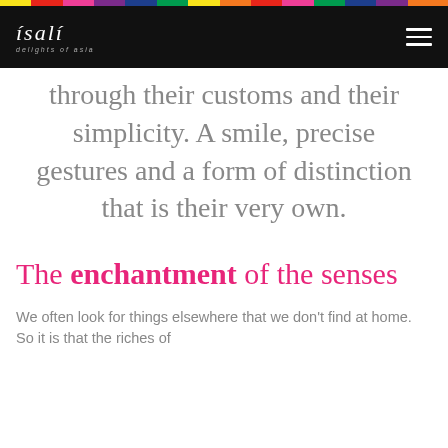ISALI - Delights of Asia
through their customs and their simplicity. A smile, precise gestures and a form of distinction that is their very own.
The enchantment of the senses
We often look for things elsewhere that we don't find at home. So it is that the riches of